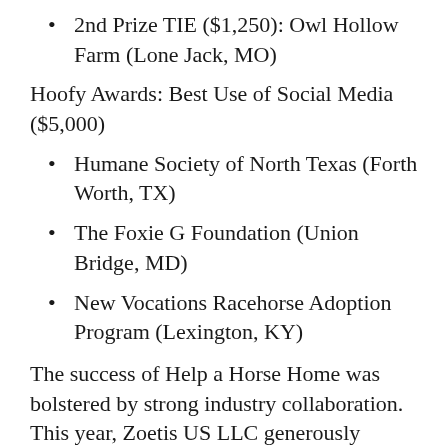2nd Prize TIE ($1,250): Owl Hollow Farm (Lone Jack, MO)
Hoofy Awards: Best Use of Social Media ($5,000)
Humane Society of North Texas (Forth Worth, TX)
The Foxie G Foundation (Union Bridge, MD)
New Vocations Racehorse Adoption Program (Lexington, KY)
The success of Help a Horse Home was bolstered by strong industry collaboration. This year, Zoetis US LLC generously donated its new vaccine, CORE EQ Innovator™, for every equine adopted during the two-month challenge period, Canpir® provided more than $300,000 in